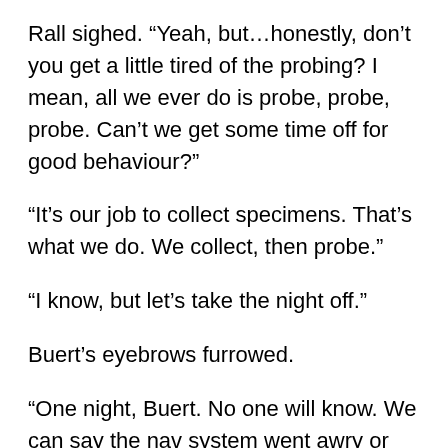Rall sighed. “Yeah, but…honestly, don’t you get a little tired of the probing? I mean, all we ever do is probe, probe, probe. Can’t we get some time off for good behaviour?”
“It’s our job to collect specimens. That’s what we do. We collect, then probe.”
“I know, but let’s take the night off.”
Buert’s eyebrows furrowed.
“One night, Buert. No one will know. We can say the nav system went awry or that the asteroid traffic was terrible.”